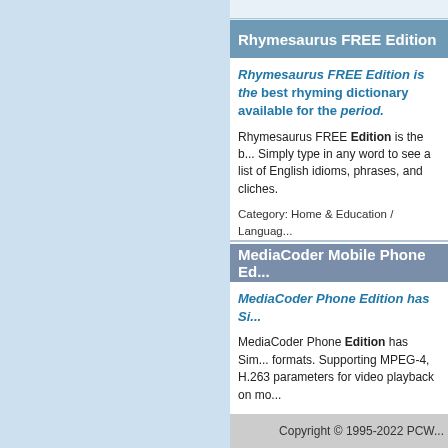Rhymesaurus FREE Edition
Rhymesaurus FREE Edition is the best rhyming dictionary available for the period.
Rhymesaurus FREE Edition is the b... Simply type in any word to see a list of English idioms, phrases, and cliches.
Category: Home & Education / Language
Publisher: rhymefree.com, License: Free
Platform: Windows, Mac, 2K, 2K3, Vista
MediaCoder Mobile Phone Ed...
MediaCoder Phone Edition has Si...
MediaCoder Phone Edition has Sim... formats. Supporting MPEG-4, H.263 parameters for video playback on mo...
Category: Audio / Utilities & Plug-Ins
Publisher: Stanley Huang, License: Free
Platform: Windows
Copyright © 1995-2022 PCW...